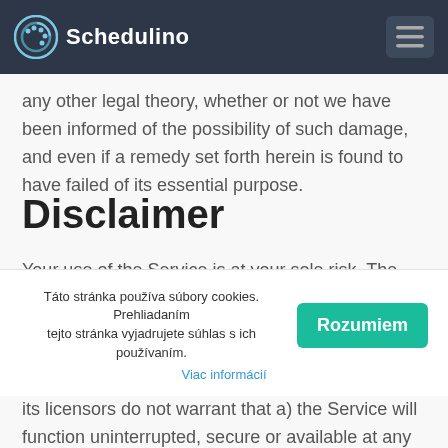Schedulino
any other legal theory, whether or not we have been informed of the possibility of such damage, and even if a remedy set forth herein is found to have failed of its essential purpose.
Disclaimer
Your use of the Service is at your sole risk. The Service is provided on an "AS IS" and "AS AVAILABLE" basis. The Service is provided without warranties of any kind, whether express or implied, including, but not limited to, implied warranties of merchantability, fitness for a particular purpose,
Táto stránka používa súbory cookies. Prehliadaním tejto stránka vyjadrujete súhlas s ich používaním. Viac informácií
its licensors do not warrant that a) the Service will function uninterrupted, secure or available at any